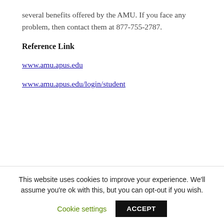several benefits offered by the AMU. If you face any problem, then contact them at 877-755-2787.
Reference Link
www.amu.apus.edu
www.amu.apus.edu/login/student
This website uses cookies to improve your experience. We'll assume you're ok with this, but you can opt-out if you wish.
Cookie settings  ACCEPT